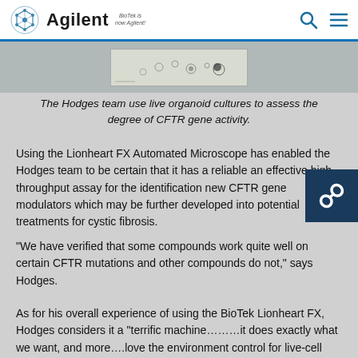Agilent | BioTek is now Agilent!
[Figure (photo): Microscope image strip showing organoid cultures]
The Hodges team use live organoid cultures to assess the degree of CFTR gene activity.
Using the Lionheart FX Automated Microscope has enabled the Hodges team to be certain that it has a reliable and effective high-throughput assay for the identification new CFTR gene modulators which may be further developed into potential treatments for cystic fibrosis.
“We have verified that some compounds work quite well on certain CFTR mutations and other compounds do not,” says Hodges.
As for his overall experience of using the BioTek Lionheart FX, Hodges considers it a “terrific machine…….it does exactly what we want, and more….love the environment control for live-cell analysis and would buy again.” He is equally complimentary around the manufacturer’s approach